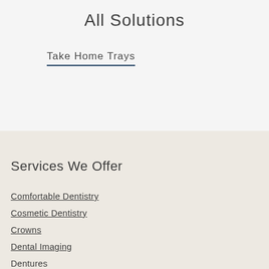All Solutions
Take Home Trays
Services We Offer
Comfortable Dentistry
Cosmetic Dentistry
Crowns
Dental Imaging
Dentures